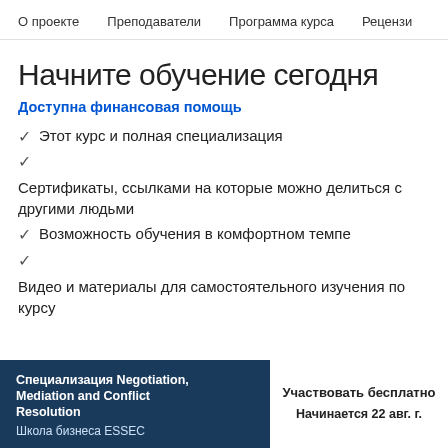О проекте   Преподаватели   Программа курса   Рецензи
Начните обучение сегодня
Доступна финансовая помощь
✓ Этот курс и полная специализация
✓
Сертификаты, ссылками на которые можно делиться с другими людьми
✓ Возможность обучения в комфортном темпе
✓
Видео и материалы для самостоятельного изучения по курсу
Специализация Negotiation, Mediation and Conflict Resolution
Школа бизнеса ESSEC
Участвовать бесплатно
Начинается 22 авг. г.